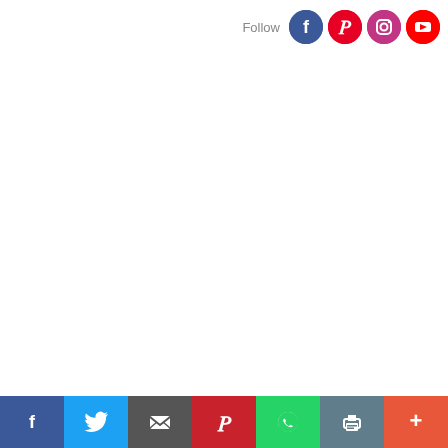[Figure (infographic): Social media follow icons bar: Follow text with Facebook, Pinterest, Instagram, YouTube circular icons]
[Figure (infographic): Bottom share bar with Facebook, Twitter, Email, Pinterest, WhatsApp, Print, and More buttons]